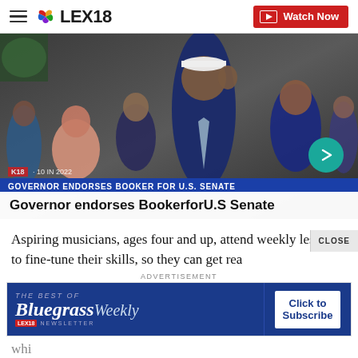≡ NBC LEX18  Watch Now
[Figure (screenshot): News video thumbnail showing a man in a suit and white cap with crowd behind him. Lower-third chyron reads 'GOVERNOR ENDORSES BOOKER FOR U.S. SENATE'. Overlay text reads 'Governor endorses Booker for U.S Senate'. LEX18 badge and date visible. Teal arrow navigation button on right.]
Aspiring musicians, ages four and up, attend weekly lessons to fine-tune their skills, so they can get rea
[Figure (screenshot): Advertisement banner for Bluegrass Weekly Newsletter by LEX18. Left side dark blue with 'The Best Of Bluegrass Weekly Newsletter' text. Right side has 'Click to Subscribe' button.]
whi